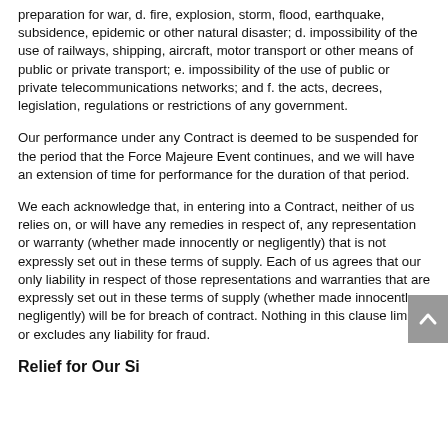preparation for war, d. fire, explosion, storm, flood, earthquake, subsidence, epidemic or other natural disaster; d. impossibility of the use of railways, shipping, aircraft, motor transport or other means of public or private transport; e. impossibility of the use of public or private telecommunications networks; and f. the acts, decrees, legislation, regulations or restrictions of any government.
Our performance under any Contract is deemed to be suspended for the period that the Force Majeure Event continues, and we will have an extension of time for performance for the duration of that period.
We each acknowledge that, in entering into a Contract, neither of us relies on, or will have any remedies in respect of, any representation or warranty (whether made innocently or negligently) that is not expressly set out in these terms of supply. Each of us agrees that our only liability in respect of those representations and warranties that are expressly set out in these terms of supply (whether made innocently or negligently) will be for breach of contract. Nothing in this clause limits or excludes any liability for fraud.
Relief for Our Si...